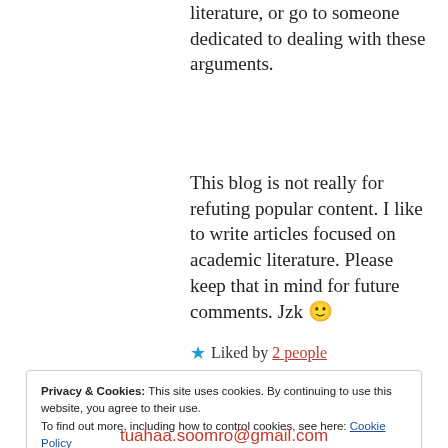literature, or go to someone dedicated to dealing with these arguments.
This blog is not really for refuting popular content. I like to write articles focused on academic literature. Please keep that in mind for future comments. Jzk 🙂
★ Liked by 2 people
Privacy & Cookies: This site uses cookies. By continuing to use this website, you agree to their use.
To find out more, including how to control cookies, see here: Cookie Policy
Close and accept
tuahaa.soomro@gmail.com